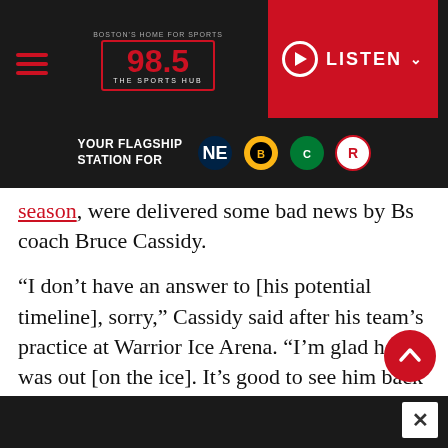98.5 The Sports Hub — BOSTON'S HOME FOR SPORTS | YOUR FLAGSHIP STATION FOR [Patriots, Bruins, Celtics, Revolution logos]
season, were delivered some bad news by Bs coach Bruce Cassidy.
“I don’t have an answer to [his potential timeline], sorry,” Cassidy said after his team’s practice at Warrior Ice Arena. “I’m glad he was out [on the ice]. It’s good to see him back out there, but I have not been told when he’ll join the group, no.”